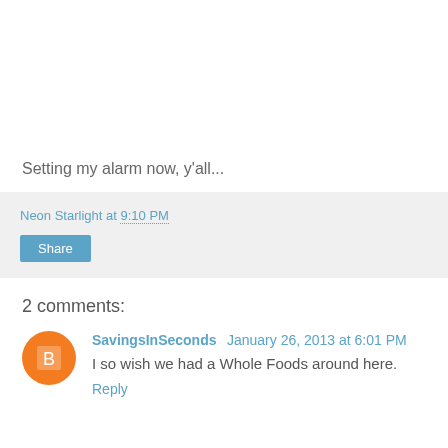Setting my alarm now, y'all...
Neon Starlight at 9:10 PM
Share
2 comments:
SavingsInSeconds January 26, 2013 at 6:01 PM
I so wish we had a Whole Foods around here.
Reply